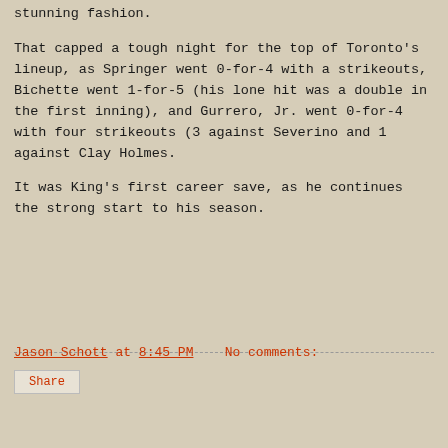stunning fashion.
That capped a tough night for the top of Toronto's lineup, as Springer went 0-for-4 with a strikeouts, Bichette went 1-for-5 (his lone hit was a double in the first inning), and Gurrero, Jr. went 0-for-4 with four strikeouts (3 against Severino and 1 against Clay Holmes.
It was King's first career save, as he continues the strong start to his season.
Jason Schott at 8:45 PM   No comments:
Share